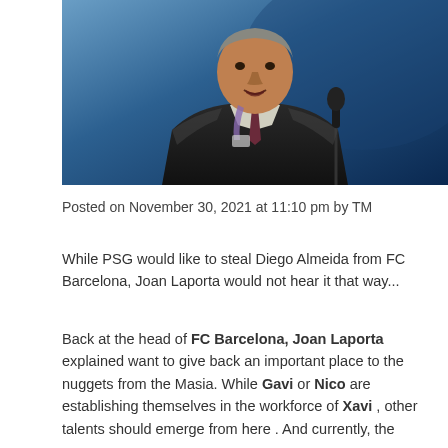[Figure (photo): A man in a dark suit with a lanyard speaking at a podium, against a blue background]
Posted on November 30, 2021 at 11:10 pm by TM
While PSG would like to steal Diego Almeida from FC Barcelona, Joan Laporta would not hear it that way...
Back at the head of FC Barcelona, Joan Laporta explained want to give back an important place to the nuggets from the Masia. While Gavi or Nico are establishing themselves in the workforce of Xavi , other talents should emerge from here . And currently, the